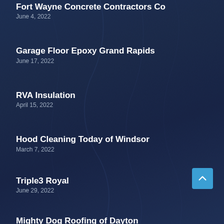Fort Wayne Concrete Contractors Co
June 4, 2022
Garage Floor Epoxy Grand Rapids
June 17, 2022
RVA Insulation
April 15, 2022
Hood Cleaning Today of Windsor
March 7, 2022
Triple3 Royal
June 29, 2022
Mighty Dog Roofing of Dayton